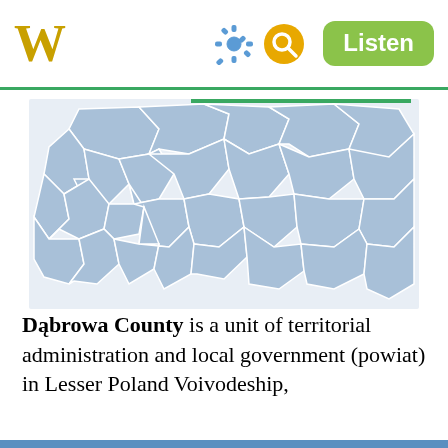W  Listen
[Figure (map): Map of Lesser Poland Voivodeship showing administrative subdivisions (powiats) in blue with white borders]
Dąbrowa County is a unit of territorial administration and local government (powiat) in Lesser Poland Voivodeship,
[Figure (photo): Historic town hall building with red tiled roof and clock tower in Dąbrowa, Lesser Poland, under a clear blue sky]